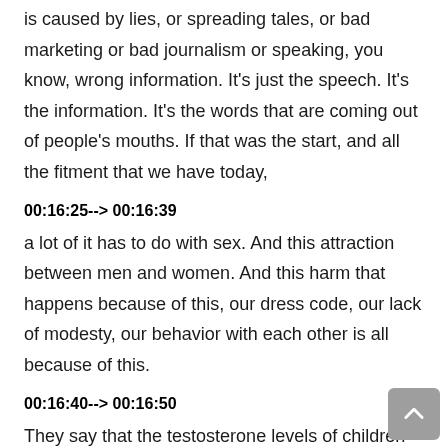is caused by lies, or spreading tales, or bad marketing or bad journalism or speaking, you know, wrong information. It's just the speech. It's the information. It's the words that are coming out of people's mouths. If that was the start, and all the fitment that we have today,
00:16:25--> 00:16:39
a lot of it has to do with sex. And this attraction between men and women. And this harm that happens because of this, our dress code, our lack of modesty, our behavior with each other is all because of this.
00:16:40--> 00:16:50
They say that the testosterone levels of children in classrooms in boys goes up when they are girls in that same classroom. That's why